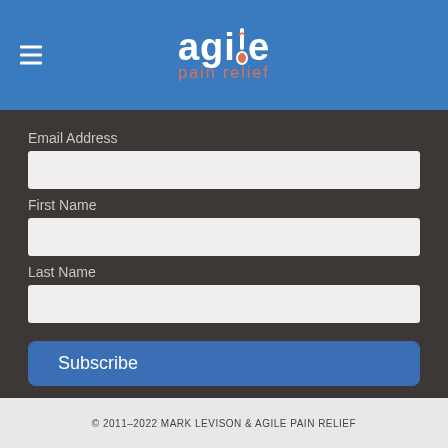[Figure (logo): Agile Pain Relief logo with hamburger menu icon on blue header background]
Email Address
First Name
Last Name
Subscribe
© 2011–2022 MARK LEVISON & AGILE PAIN RELIEF